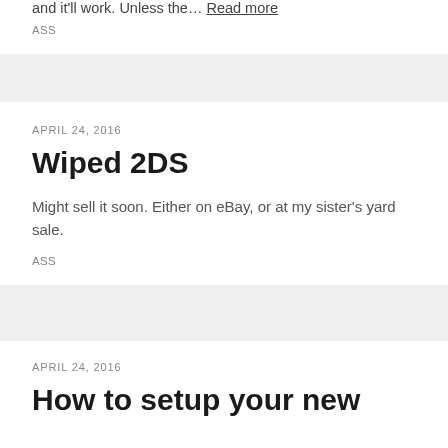and it'll work. Unless the… Read more
ASS
APRIL 24, 2016
Wiped 2DS
Might sell it soon. Either on eBay, or at my sister's yard sale.
ASS
APRIL 24, 2016
How to setup your new